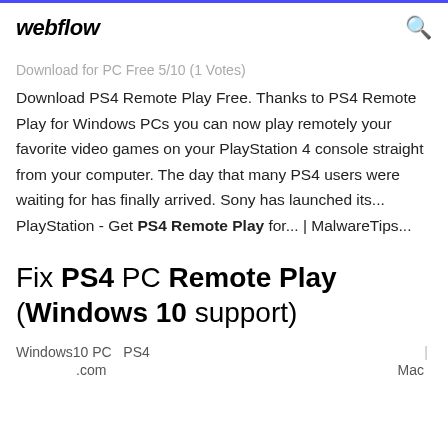webflow
Download for PC Free 5/10 (1 Votes)
Download PS4 Remote Play Free. Thanks to PS4 Remote Play for Windows PCs you can now play remotely your favorite video games on your PlayStation 4 console straight from your computer. The day that many PS4 users were waiting for has finally arrived. Sony has launched its... PlayStation - Get PS4 Remote Play for... | MalwareTips...
Fix PS4 PC Remote Play (Windows 10 support)
Windows10 PC  PS4  |  .com  Mac